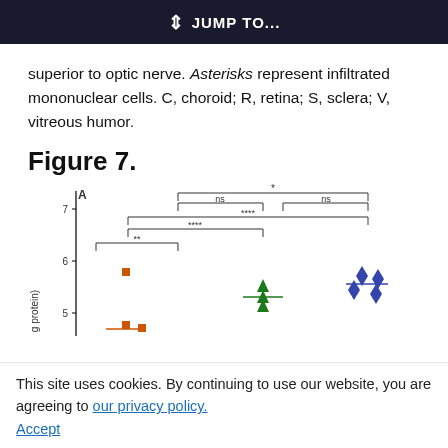JUMP TO...
superior to optic nerve. Asterisks represent infiltrated mononuclear cells. C, choroid; R, retina; S, sclera; V, vitreous humor.
Figure 7.
[Figure (scatter-plot): Scatter plot panel A showing data points for multiple groups with significance brackets. Y-axis labeled 'g protein)' with values around 5-7. Groups shown with orange squares, green triangles, and blue diamonds. Statistical annotations include **, ****, ns, and * markers above brackets.]
This site uses cookies. By continuing to use our website, you are agreeing to our privacy policy. Accept